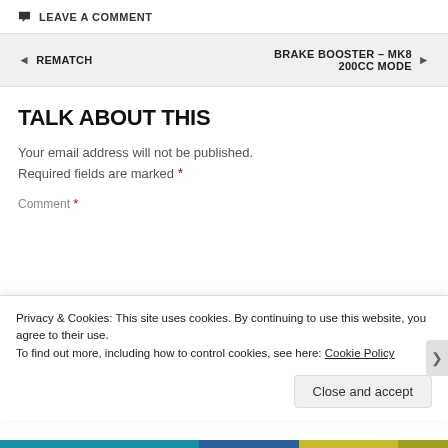LEAVE A COMMENT
◄  REMATCH
BRAKE BOOSTER – MK8 200CC MODE  ►
TALK ABOUT THIS
Your email address will not be published. Required fields are marked *
Comment *
Privacy & Cookies: This site uses cookies. By continuing to use this website, you agree to their use.
To find out more, including how to control cookies, see here: Cookie Policy
Close and accept